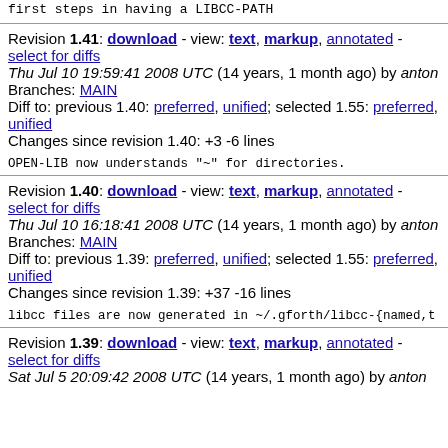first steps in having a LIBCC-PATH
Revision 1.41: download - view: text, markup, annotated - select for diffs
Thu Jul 10 19:59:41 2008 UTC (14 years, 1 month ago) by anton
Branches: MAIN
Diff to: previous 1.40: preferred, unified; selected 1.55: preferred, unified
Changes since revision 1.40: +3 -6 lines
OPEN-LIB now understands "~" for directories.
Revision 1.40: download - view: text, markup, annotated - select for diffs
Thu Jul 10 16:18:41 2008 UTC (14 years, 1 month ago) by anton
Branches: MAIN
Diff to: previous 1.39: preferred, unified; selected 1.55: preferred, unified
Changes since revision 1.39: +37 -16 lines
libcc files are now generated in ~/.gforth/libcc-{named,t
Revision 1.39: download - view: text, markup, annotated - select for diffs
select for diffs
Sat Jul 5 20:09:42 2008 UTC (14 years, 1 month ago) by anton